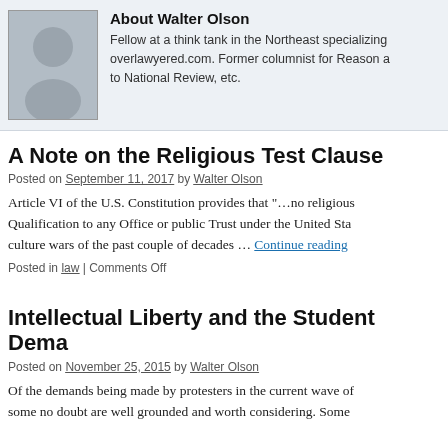[Figure (photo): Author avatar placeholder image showing silhouette of person, gray background]
About Walter Olson
Fellow at a think tank in the Northeast specializing overlawyered.com. Former columnist for Reason a to National Review, etc.
A Note on the Religious Test Clause
Posted on September 11, 2017 by Walter Olson
Article VI of the U.S. Constitution provides that “…no religious Qualification to any Office or public Trust under the United Sta culture wars of the past couple of decades … Continue reading
Posted in law | Comments Off
Intellectual Liberty and the Student Dema
Posted on November 25, 2015 by Walter Olson
Of the demands being made by protesters in the current wave of some no doubt are well grounded and worth considering. Some